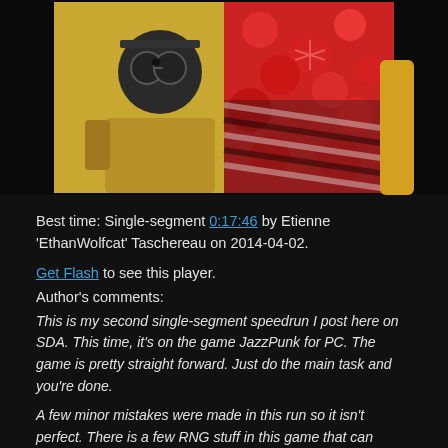[Figure (screenshot): Screenshot from the game JazzPunk showing two animated characters with text 'CHANGE OF PLANS' overlaid in white on a dark background.]
Best time: Single-segment 0:17:46 by Etienne 'EthanWolfcat' Taschereau on 2014-04-02.
Get Flash to see this player.
Author's comments:
This is my second single-segment speedrun I post here on SDA. This time, it's on the game JazzPunk for PC. The game is pretty straight forward. Just do the main task and you're done.
A few minor mistakes were made in this run so it isn't perfect. There is a few RNG stuff in this game that can influence the outcome of the run. The game contains a lot of bugs which makes it hard to make a good speedrun. For example, at the beginning of the hotel level, If you hold any button during the
Loading screen, there is a high chance that the screen will stay black. But a few of the bugs could help to have a better time. I take, for example, the elevator in the hotel. If you stuck yourself correctly in the door, when the elevator starts moving up, you will be teleported to the floor you have